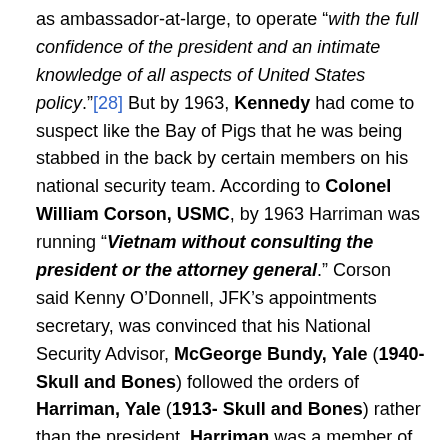as ambassador-at-large, to operate “with the full confidence of the president and an intimate knowledge of all aspects of United States policy.”[28] But by 1963, Kennedy had come to suspect like the Bay of Pigs that he was being stabbed in the back by certain members on his national security team. According to Colonel William Corson, USMC, by 1963 Harriman was running “Vietnam without consulting the president or the attorney general.” Corson said Kenny O’Donnell, JFK’s appointments secretary, was convinced that his National Security Advisor, McGeorge Bundy, Yale (1940- Skull and Bones) followed the orders of Harriman, Yale (1913- Skull and Bones) rather than the president. Harriman was a member of Astor-Rhodes Roundtable Club of Rome, CFR; Knights of Pythias, Psi Upsilon Fraternity, and the Jupiter Island Club.[29]